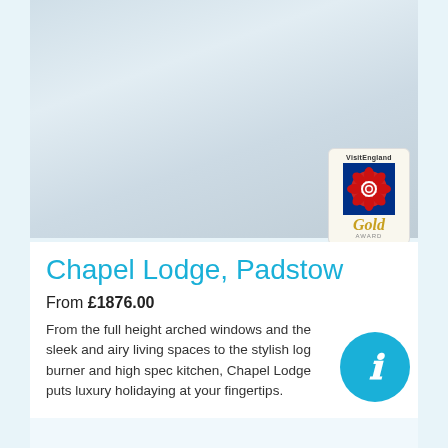[Figure (photo): Interior photo of Chapel Lodge showing a light, airy living space with pale blue/grey tones]
[Figure (logo): VisitEngland Gold Award badge with red rose on blue background and gold italic text]
Chapel Lodge, Padstow
From £1876.00
From the full height arched windows and the sleek and airy living spaces to the stylish log burner and high spec kitchen, Chapel Lodge puts luxury holidaying at your fingertips.